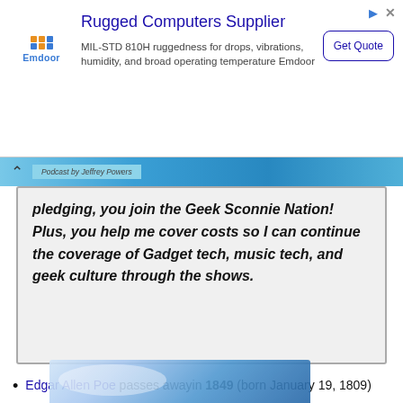[Figure (infographic): Advertisement banner for Emdoor rugged computers supplier. Shows Emdoor logo, title 'Rugged Computers Supplier', description text about MIL-STD 810H ruggedness, and a 'Get Quote' button.]
pledging, you join the Geek Sconnie Nation! Plus, you help me cover costs so I can continue the coverage of Gadget tech, music tech, and geek culture through the shows.
Edgar Allen Poe passes awayin 1849 (born January 19, 1809)
The Computer Bowl
Verisign sells Jamba
[Figure (screenshot): Bottom portion of a webpage showing a partial image with blue and light blue gradient colors.]